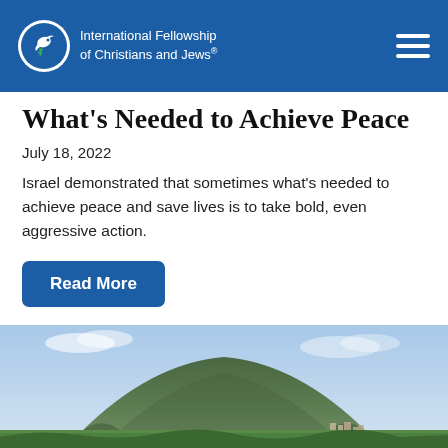International Fellowship of Christians and Jews®
What's Needed to Achieve Peace
July 18, 2022
Israel demonstrated that sometimes what's needed to achieve peace and save lives is to take bold, even aggressive action.
Read More
[Figure (photo): Landscape photo showing a large hill or mountain (Mount Tabor) with green agricultural fields and orchards in the foreground, under a partly cloudy blue sky, with a town visible at the base of the hill.]